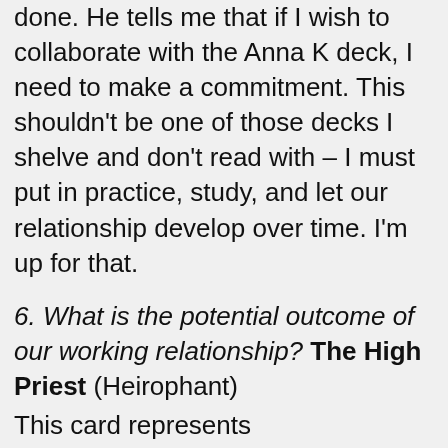done. He tells me that if I wish to collaborate with the Anna K deck, I need to make a commitment. This shouldn't be one of those decks I shelve and don't read with – I must put in practice, study, and let our relationship develop over time. I'm up for that.
6. What is the potential outcome of our working relationship? The High Priest (Heirophant)
This card represents acknowledgement of old wisdom, a relationship with spiritual teachings. According to Anna, he represents 'deep trust, protection and good advice'. I have a mixed relationship with this card – but as Anna is willing to bring out it's positive qualities, I'm really happy to see these qualities